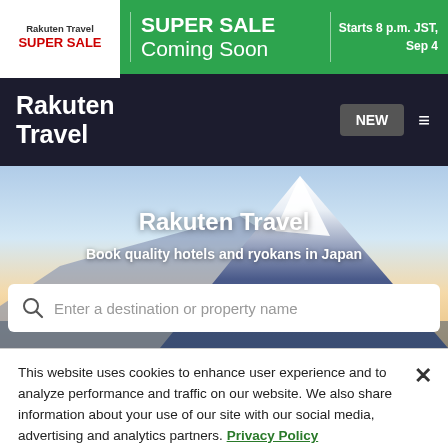[Figure (screenshot): Rakuten Travel Super Sale banner with green background, logo on white box left, 'SUPER SALE Coming Soon' text, 'Starts 8 p.m. JST, Sep 4' on right]
[Figure (screenshot): Rakuten Travel navigation bar with dark background, logo text, NEW button, and hamburger menu icon]
[Figure (screenshot): Hero image showing Mount Fuji with blue sky, overlaid with 'Rakuten Travel' title and 'Book quality hotels and ryokans in Japan' subtitle, and a search bar]
This website uses cookies to enhance user experience and to analyze performance and traffic on our website. We also share information about your use of our site with our social media, advertising and analytics partners. Privacy Policy
Do Not Sell My Personal Information
Accept All